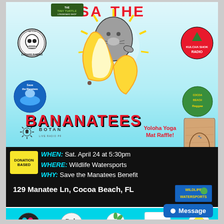[Figure (illustration): Event flyer for 'Save the Bananatees' - a Save the Manatees benefit event. Features a cartoon manatee emerging from a banana, surrounded by sponsor logos including The Tiny Turtle, Endless Summer Tattoo, Kulcha Shok Radio, Save the Manatees, Cocoa Beach Reggae, Botanica. Event details on black bar: WHEN: Sat. April 24 at 5:30pm, WHERE: Wildlife Watersports, WHY: Save the Manatees Benefit, 129 Manatee Ln, Cocoa Beach, FL. Bottom sponsor bar with logos: Bula, Yoloha, Koru. Yoloha Yoga Mat Raffle noted. Donation Based event.]
SAVE THE BANANATEES
WHEN: Sat. April 24 at 5:30pm
WHERE: Wildlife Watersports
WHY: Save the Manatees Benefit
129 Manatee Ln, Cocoa Beach, FL
DONATION BASED
Yoloha Yoga Mat Raffle!